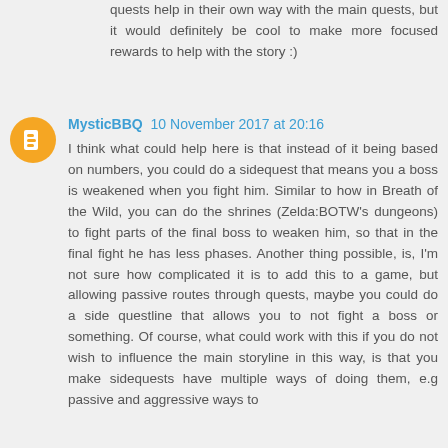quests help in their own way with the main quests, but it would definitely be cool to make more focused rewards to help with the story :)
MysticBBQ 10 November 2017 at 20:16
I think what could help here is that instead of it being based on numbers, you could do a sidequest that means you a boss is weakened when you fight him. Similar to how in Breath of the Wild, you can do the shrines (Zelda:BOTW's dungeons) to fight parts of the final boss to weaken him, so that in the final fight he has less phases. Another thing possible, is, I'm not sure how complicated it is to add this to a game, but allowing passive routes through quests, maybe you could do a side questline that allows you to not fight a boss or something. Of course, what could work with this if you do not wish to influence the main storyline in this way, is that you make sidequests have multiple ways of doing them, e.g passive and aggressive ways to